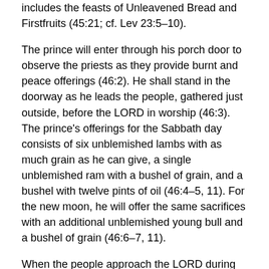includes the feasts of Unleavened Bread and Firstfruits (45:21; cf. Lev 23:5–10).
The prince will enter through his porch door to observe the priests as they provide burnt and peace offerings (46:2). He shall stand in the doorway as he leads the people, gathered just outside, before the LORD in worship (46:3). The prince's offerings for the Sabbath day consists of six unblemished lambs with as much grain as he can give, a single unblemished ram with a bushel of grain, and a bushel with twelve pints of oil (46:4–5, 11). For the new moon, he will offer the same sacrifices with an additional unblemished young bull and a bushel of grain (46:6–7, 11).
When the people approach the LORD during the feasts, they must exit through the gate opposite the one they